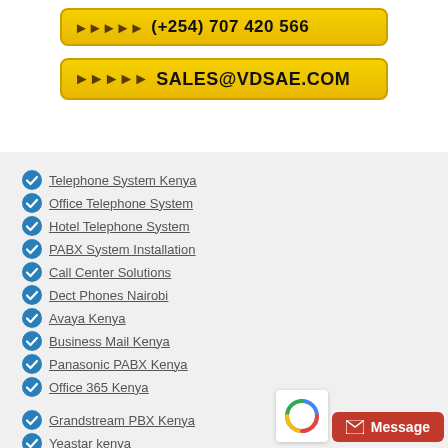[Figure (other): Yellow button with arrows and email address SALES@VDSAE.COM]
Telephone System Kenya
Office Telephone System
Hotel Telephone System
PABX System Installation
Call Center Solutions
Dect Phones Nairobi
Avaya Kenya
Business Mail Kenya
Panasonic PABX Kenya
Office 365 Kenya
Grandstream PBX Kenya
Yeastar kenya